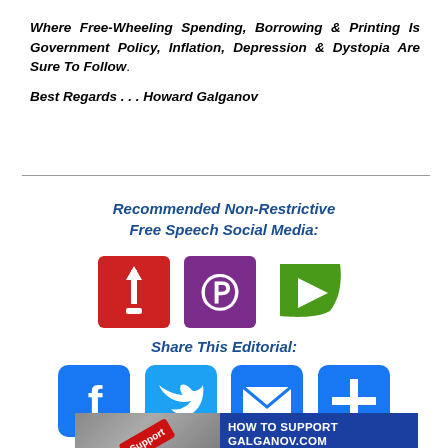Where Free-Wheeling Spending, Borrowing & Printing Is Government Policy, Inflation, Depression & Dystopia Are Sure To Follow.
Best Regards . . . Howard Galganov
Recommended Non-Restrictive Free Speech Social Media:
[Figure (logo): Three social media platform logos: Frank Speech (red square with torch icon), Parler (purple square with P icon), Rumble (green play button logo)]
Share This Editorial:
[Figure (logo): Four share icons: Facebook (blue f), Twitter (blue bird), Email (blue envelope), More (blue plus)]
[Figure (infographic): Support banner: left side shows keyboard with red Support key, right side is blue with text HOW TO SUPPORT GALGANOV.COM CLICK HERE]